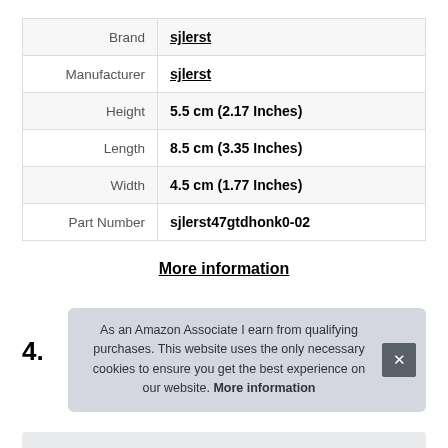|  |  |
| --- | --- |
| Brand | sjlerst |
| Manufacturer | sjlerst |
| Height | 5.5 cm (2.17 Inches) |
| Length | 8.5 cm (3.35 Inches) |
| Width | 4.5 cm (1.77 Inches) |
| Part Number | sjlerst47gtdhonk0-02 |
More information
4.
As an Amazon Associate I earn from qualifying purchases. This website uses the only necessary cookies to ensure you get the best experience on our website. More information